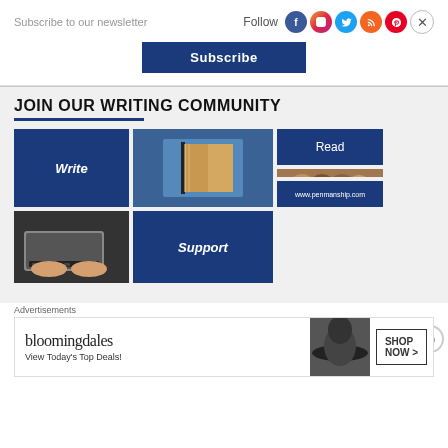Subscribe to our newsletter
Follow
[Figure (infographic): Social media icons: Facebook, Instagram, Twitter, RSS, Pinterest, X (close)]
[Figure (infographic): Blue Subscribe button]
JOIN OUR WRITING COMMUNITY
[Figure (infographic): Writing community promotional image grid showing Write (blue tile), book photo, Read (blue tile), people reading photo, laptop photo, Support (blue tile), and website URL tile]
Advertisements
[Figure (infographic): Bloomingdale's advertisement banner: View Today's Top Deals! SHOP NOW >]